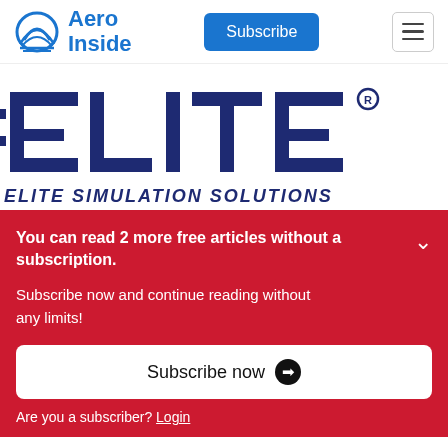Aero Inside | Subscribe | Menu
[Figure (logo): ELITE Simulation Solutions logo — large dark navy ELITE letters with horizontal stripe design on white background, text 'ELITE SIMULATION SOLUTIONS' below]
You can read 2 more free articles without a subscription.
Subscribe now and continue reading without any limits!
Subscribe now →
Are you a subscriber? Login